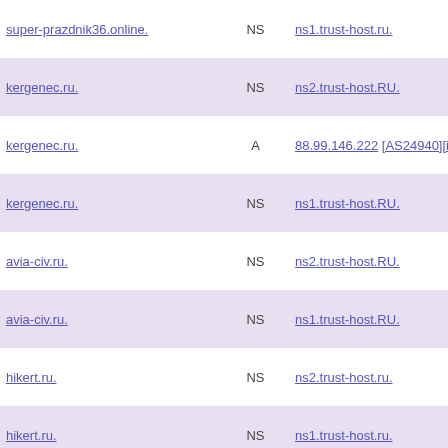| Domain | Type | Value | Date |
| --- | --- | --- | --- |
| super-prazdnik36.online. | NS | ns1.trust-host.ru. | 20...
03-...
01:... |
| kergenec.ru. | NS | ns2.trust-host.RU. | 20...
03-...
02:... |
| kergenec.ru. | A | 88.99.146.222 [AS24940][i] | 20...
03-...
02:... |
| kergenec.ru. | NS | ns1.trust-host.RU. | 20...
03-...
02:... |
| avia-civ.ru. | NS | ns2.trust-host.RU. | 20...
03-...
01:... |
| avia-civ.ru. | NS | ns1.trust-host.RU. | 20...
03-...
01:... |
| hikert.ru. | NS | ns2.trust-host.ru. | 20...
03-...
01:... |
| hikert.ru. | NS | ns1.trust-host.ru. | 20...
03-...
01:... |
| matracspb.ru. | NS | ns2.trust-host.ru. | 20...
03-...
01:... |
| matracspb.ru. | A | 88.99.146.222 [AS24940][i] | 20...
03-...
01:... |